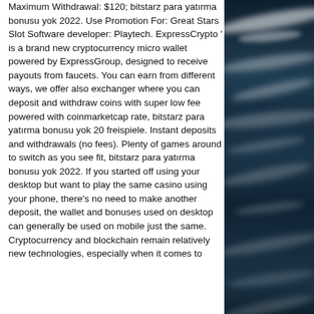Maximum Withdrawal: $120; bitstarz para yatırma bonusu yok 2022. Use Promotion For: Great Stars Slot Software developer: Playtech. ExpressCrypto ' is a brand new cryptocurrency micro wallet powered by ExpressGroup, designed to receive payouts from faucets. You can earn from different ways, we offer also exchanger where you can deposit and withdraw coins with super low fee powered with coinmarketcap rate, bitstarz para yatırma bonusu yok 20 freispiele. Instant deposits and withdrawals (no fees). Plenty of games around to switch as you see fit, bitstarz para yatırma bonusu yok 2022. If you started off using your desktop but want to play the same casino using your phone, there's no need to make another deposit, the wallet and bonuses used on desktop can generally be used on mobile just the same. Cryptocurrency and blockchain remain relatively new technologies, especially when it comes to
[Figure (photo): Dark ocean water with white wave crests, photographed from above or at an angle, showing a turbulent sea surface with foam and waves.]